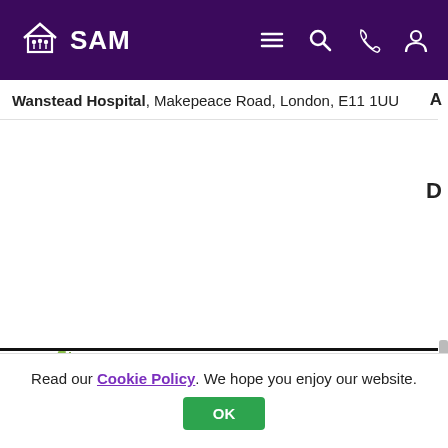SAM - Wanstead Hospital, Makepeace Road, London, E11 1UU
Wanstead Hospital, Makepeace Road, London, E11 1UU
[Figure (map): Map of the United Kingdom with Greater London highlighted in green]
Greater London is an area which contains London, the capital of the United Kingdom
Read our Cookie Policy. We hope you enjoy our website.